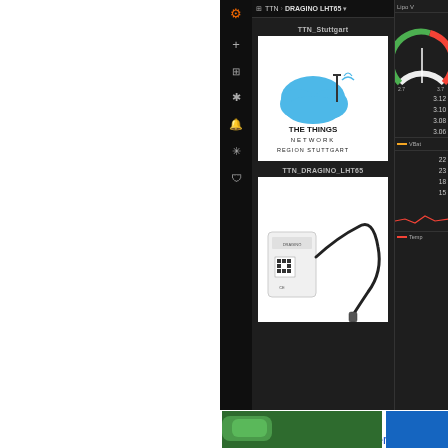[Figure (screenshot): Grafana dashboard screenshot showing TTN > DRAGINO LHT65 breadcrumb navigation, dark sidebar with icons (add, grid, asterisk, bell, snowflake, shield), two panel cards: 'TTN_Stuttgart' showing The Things Network Region Stuttgart logo, and 'TTN_DRAGINO_LHT65' showing a Dragino LHT65 sensor device with probe cable. Right side shows partial gauge and line chart panels with values like 3.12, 3.10, 3.08, 3.06 and 22, 23, 18, 15.]
20.01.2021
LCARS SmartHome - Wio Terminal - WIO V
With help of this application we can now me
[Figure (photo): Partial bottom image strip showing green object on left and blue rectangle on right]